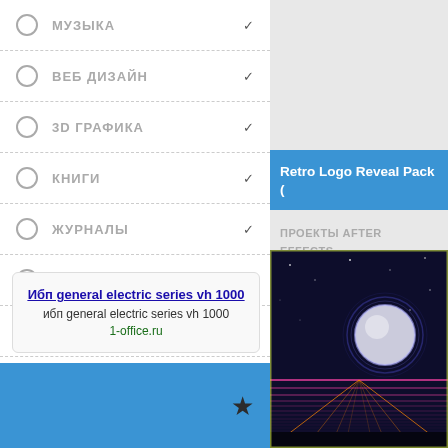МУЗЫКА
ВЕБ ДИЗАЙН
3D ГРАФИКА
КНИГИ
ЖУРНАЛЫ
СКРАП НАБОРЫ
ФИЛЬМЫ
СТАТЬИ
Retro Logo Reveal Pack (
ПРОЕКТЫ AFTER EFFECTS
[Figure (screenshot): Retro logo reveal dark space scene with glowing neon circle and grid]
Ибп general electric series vh 1000
ибп general electric series vh 1000
1-office.ru